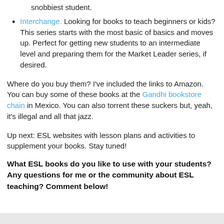snobbiest student.
Interchange. Looking for books to teach beginners or kids? This series starts with the most basic of basics and moves up. Perfect for getting new students to an intermediate level and preparing them for the Market Leader series, if desired.
Where do you buy them? I've included the links to Amazon. You can buy some of these books at the Gandhi bookstore chain in Mexico. You can also torrent these suckers but, yeah, it's illegal and all that jazz.
Up next: ESL websites with lesson plans and activities to supplement your books. Stay tuned!
What ESL books do you like to use with your students? Any questions for me or the community about ESL teaching? Comment below!